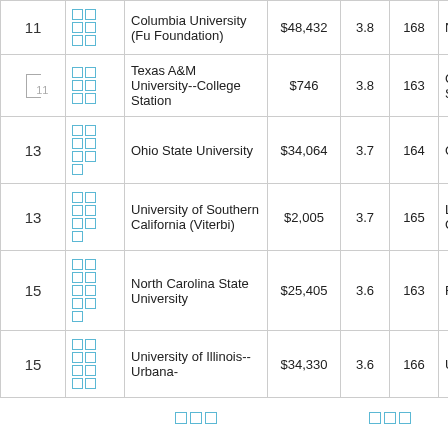| Rank |  | School | Tuition | GPA | GRE | Location |
| --- | --- | --- | --- | --- | --- | --- |
| 11 | [icons] | Columbia University (Fu Foundation) | $48,432 | 3.8 | 168 | New York, NY |
| [12] | [icons] | Texas A&M University--College Station | $746 | 3.8 | 163 | College Station, TX |
| 13 | [icons] | Ohio State University | $34,064 | 3.7 | 164 | Columbus, OH |
| 13 | [icons] | University of Southern California (Viterbi) | $2,005 | 3.7 | 165 | Los Angeles, CA |
| 15 | [icons] | North Carolina State University | $25,405 | 3.6 | 163 | Raleigh, NC |
| 15 | [icons] | University of Illinois--Urbana- | $34,330 | 3.6 | 166 | Urbana, IL |